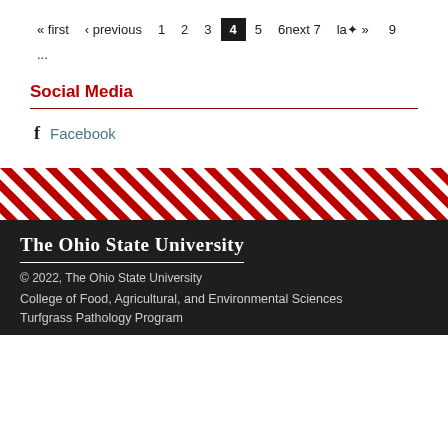« first  ‹ previous  1  2  3  4  5  6next 7  last »  9  ...
Social Media
f  Facebook
[Figure (illustration): Diagonal red and white stripes banner dividing the page]
The Ohio State University
© 2022, The Ohio State University
College of Food, Agricultural, and Environmental Sciences
Turfgrass Pathology Program